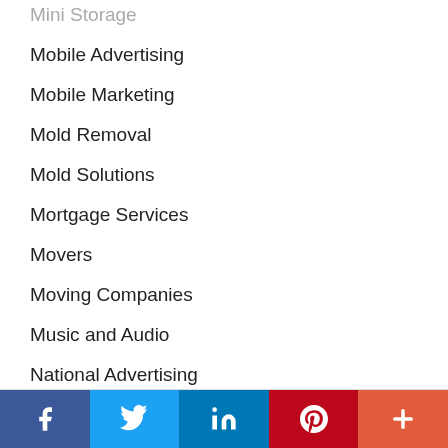Mini Storage
Mobile Advertising
Mobile Marketing
Mold Removal
Mold Solutions
Mortgage Services
Movers
Moving Companies
Music and Audio
National Advertising
Nature Parks
Nightlife
Nightout
Notary Services